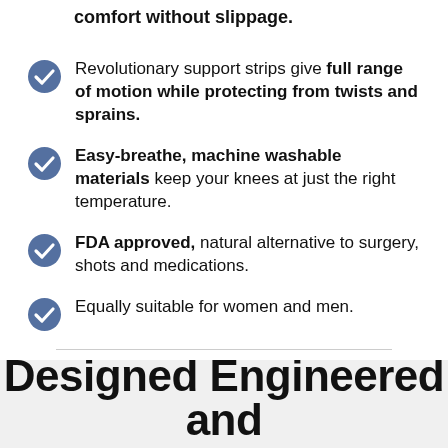comfort without slippage.
Revolutionary support strips give full range of motion while protecting from twists and sprains.
Easy-breathe, machine washable materials keep your knees at just the right temperature.
FDA approved, natural alternative to surgery, shots and medications.
Equally suitable for women and men.
Designed Engineered and